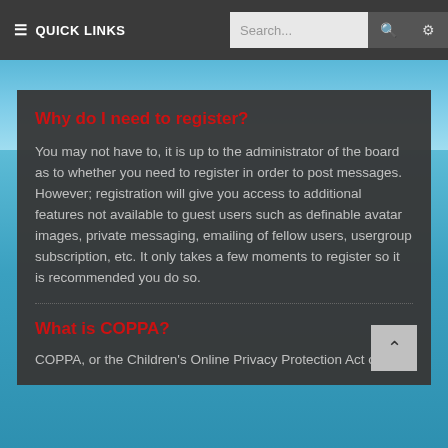≡ QUICK LINKS    Search...
Why do I need to register?
You may not have to, it is up to the administrator of the board as to whether you need to register in order to post messages. However; registration will give you access to additional features not available to guest users such as definable avatar images, private messaging, emailing of fellow users, usergroup subscription, etc. It only takes a few moments to register so it is recommended you do so.
What is COPPA?
COPPA, or the Children's Online Privacy Protection Act of